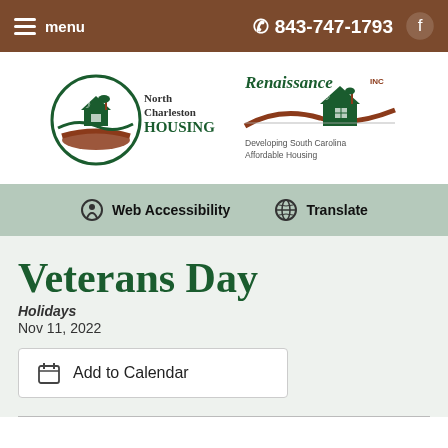menu  843-747-1793
[Figure (logo): North Charleston Housing and Renaissance Inc logos]
Web Accessibility   Translate
Veterans Day
Holidays
Nov 11, 2022
Add to Calendar